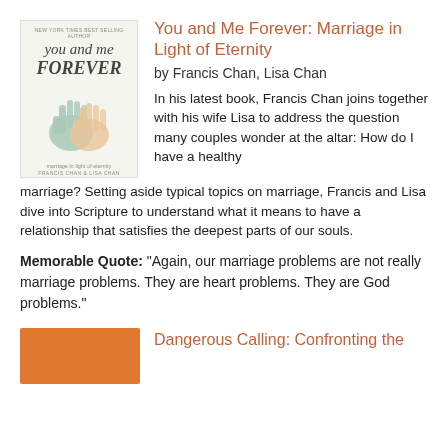[Figure (illustration): Book cover of 'You and Me Forever: Marriage in Light of Eternity' by Francis Chan and Lisa Chan, showing two illustrated hands (teal and orange) against a white background with handwritten-style title text]
You and Me Forever: Marriage in Light of Eternity
by Francis Chan, Lisa Chan
In his latest book, Francis Chan joins together with his wife Lisa to address the question many couples wonder at the altar: How do I have a healthy marriage? Setting aside typical topics on marriage, Francis and Lisa dive into Scripture to understand what it means to have a relationship that satisfies the deepest parts of our souls.
Memorable Quote: “Again, our marriage problems are not really marriage problems. They are heart problems. They are God problems.”
[Figure (illustration): Partial book cover with orange/amber background, bottom of page]
Dangerous Calling: Confronting the